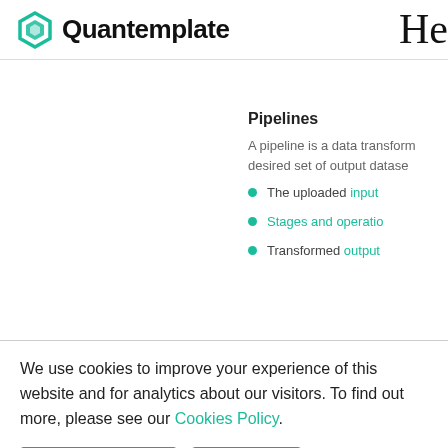Quantemplate | He
Pipelines
A pipeline is a data transform... desired set of output datase...
The uploaded input...
Stages and operatio...
Transformed output...
We use cookies to improve your experience of this website and for analytics about our visitors. To find out more, please see our Cookies Policy.